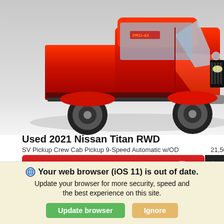[Figure (photo): Front view of a red 2021 Nissan Titan RWD pickup truck on a light gray background]
Used 2021 Nissan Titan RWD
SV Pickup Crew Cab Pickup 9-Speed Automatic w/OD   21,500 Miles
[Figure (screenshot): Red button with white bold text reading FULL-MOTION VIDEO and a play icon]
Retail Price
$43,725
VALUE MY TRADE
Your web browser (iOS 11) is out of date.
Update your browser for more security, speed and the best experience on this site.
Update browser   Ignore